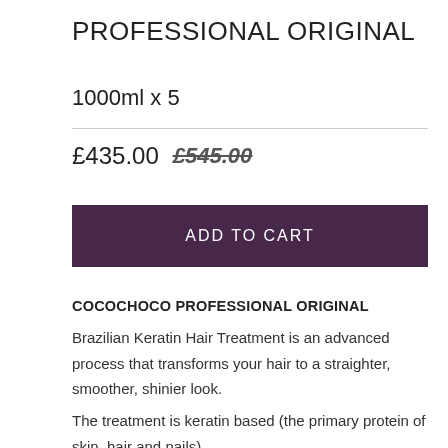PROFESSIONAL ORIGINAL
1000ml x 5
£435.00 £545.00
ADD TO CART
COCOCHOCO PROFESSIONAL ORIGINAL
Brazilian Keratin Hair Treatment is an advanced process that transforms your hair to a straighter, smoother, shinier look.
The treatment is keratin based (the primary protein of skin, hair and nails).